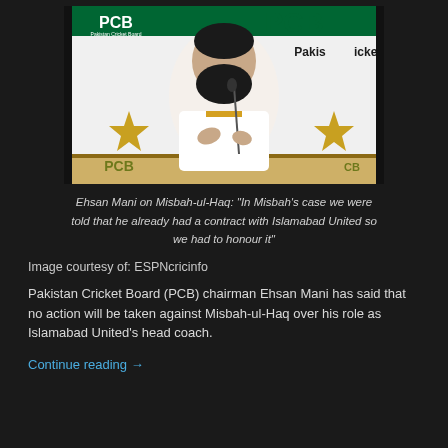[Figure (photo): Man with beard in white polo shirt sitting at a press conference table in front of PCB (Pakistan Cricket Board) branded backdrop with gold stars and green/white PCB logos]
Ehsan Mani on Misbah-ul-Haq: "In Misbah's case we were told that he already had a contract with Islamabad United so we had to honour it"
Image courtesy of: ESPNcricinfo
Pakistan Cricket Board (PCB) chairman Ehsan Mani has said that no action will be taken against Misbah-ul-Haq over his role as Islamabad United's head coach.
Continue reading →